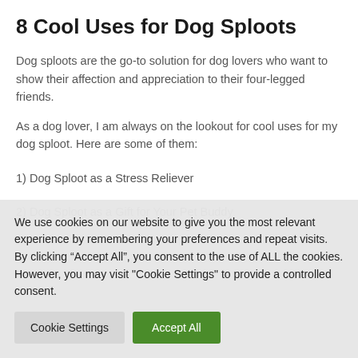8 Cool Uses for Dog Sploots
Dog sploots are the go-to solution for dog lovers who want to show their affection and appreciation to their four-legged friends.
As a dog lover, I am always on the lookout for cool uses for my dog sploot. Here are some of them:
1) Dog Sploot as a Stress Reliever
2) Dog Sploot as a Gift for Your Pet Buddy
We use cookies on our website to give you the most relevant experience by remembering your preferences and repeat visits. By clicking “Accept All”, you consent to the use of ALL the cookies. However, you may visit "Cookie Settings" to provide a controlled consent.